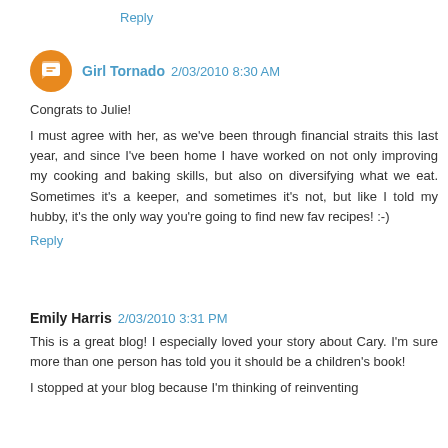Reply
Girl Tornado  2/03/2010 8:30 AM
Congrats to Julie!

I must agree with her, as we've been through financial straits this last year, and since I've been home I have worked on not only improving my cooking and baking skills, but also on diversifying what we eat. Sometimes it's a keeper, and sometimes it's not, but like I told my hubby, it's the only way you're going to find new fav recipes! :-)
Reply
Emily Harris  2/03/2010 3:31 PM
This is a great blog! I especially loved your story about Cary. I'm sure more than one person has told you it should be a children's book!

I stopped at your blog because I'm thinking of reinventing